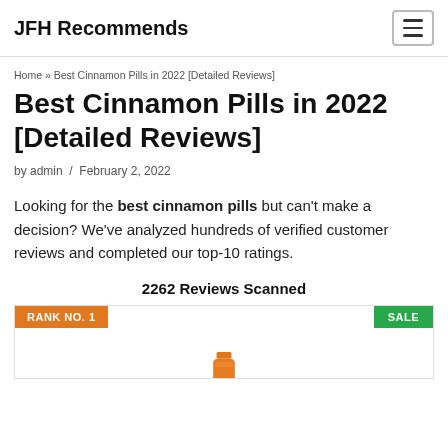JFH Recommends
Home » Best Cinnamon Pills in 2022 [Detailed Reviews]
Best Cinnamon Pills in 2022 [Detailed Reviews]
by admin / February 2, 2022
Looking for the best cinnamon pills but can't make a decision? We've analyzed hundreds of verified customer reviews and completed our top-10 ratings.
2262 Reviews Scanned
[Figure (photo): Product card showing RANK NO. 1 badge (orange) on the left and SALE badge (green) on the right, with an orange pill bottle partially visible at the bottom center.]